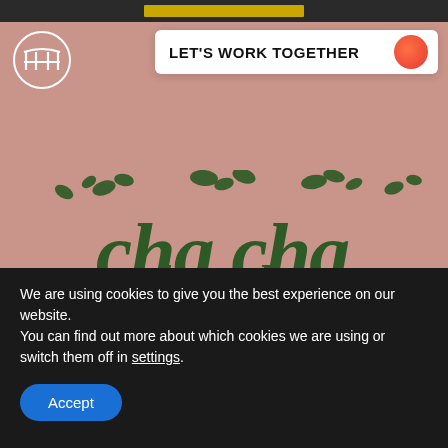[Figure (screenshot): Website screenshot showing a page with a logo circle on top left, a 'LET'S WORK TOGETHER' button with orange dot on top, and a pink background with dark green 'cha cha' text logo with floral illustration]
We are using cookies to give you the best experience on our website.
You can find out more about which cookies we are using or switch them off in settings.
Accept